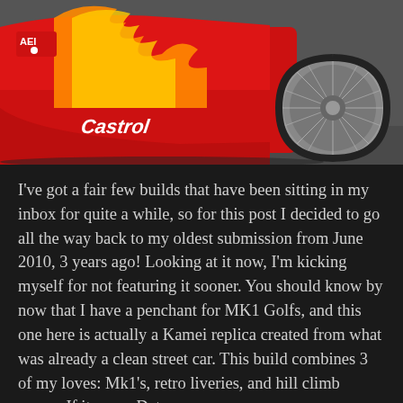[Figure (photo): Close-up photo of a red race car body with yellow and orange flame livery, showing a 'Castrol' sponsor decal in white italic text, an AEI logo badge on the upper left, and a wire-spoke wheel visible on the right side.]
I've got a fair few builds that have been sitting in my inbox for quite a while, so for this post I decided to go all the way back to my oldest submission from June 2010, 3 years ago! Looking at it now, I'm kicking myself for not featuring it sooner. You should know by now that I have a penchant for MK1 Golfs, and this one here is actually a Kamei replica created from what was already a clean street car. This build combines 3 of my loves: Mk1's, retro liveries, and hill climb racers. If it was a Datsun